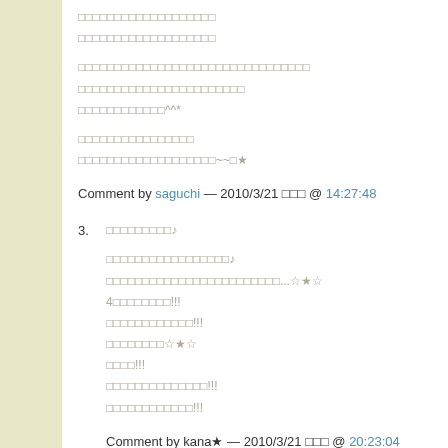□□□□□□□□□□□□□□□□□□□
□□□□□□□□□□□□□□□□□□□
□□□□□□□□□□□□□□□□□□□□□□□□□□□□□□□□
□□□□□□□□□□□□□□□□□□□□□□□
□□□□□□□□□□□□^^*
□□□□□□□□□□□□□□□□
□□□□□□□□□□□□□□□□□□□~~□★
Comment by saguchi — 2010/3/21 □□□ @ 14:27:48
3. □□□□□□□□□♪
□□□□□□□□□□□□□□□□□♪
□□□□□□□□□□□□□□□□□□□□□□□□...☆★☆
4□□□□□□□□!!!
□□□□□□□□□□□□!!!
□□□□□□□□☆★☆
□□□□!!!
□□□□□□□□□□□□□□!!!
□□□□□□□□□□□□!!!
Comment by kana★ — 2010/3/21 □□□ @ 20:23:04